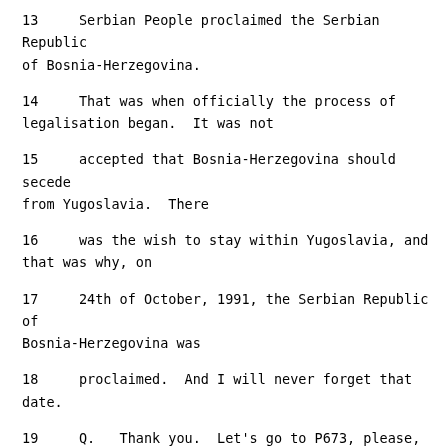13     Serbian People proclaimed the Serbian Republic of Bosnia-Herzegovina.
14     That was when officially the process of legalisation began.  It was not
15     accepted that Bosnia-Herzegovina should secede from Yugoslavia.  There
16     was the wish to stay within Yugoslavia, and that was why, on
17     24th of October, 1991, the Serbian Republic of Bosnia-Herzegovina was
18     proclaimed.  And I will never forget that date.
19     Q.   Thank you.  Let's go to P673, please, the intercept we looked at